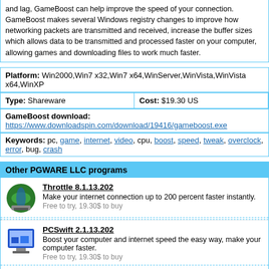and lag, GameBoost can help improve the speed of your connection. GameBoost makes several Windows registry changes to improve how networking packets are transmitted and received, increase the buffer sizes which allows data to be transmitted and processed faster on your computer, allowing games and downloading files to work much faster.
Platform: Win2000,Win7 x32,Win7 x64,WinServer,WinVista,WinVista x64,WinXP
Type: Shareware   Cost: $19.30 US
GameBoost download: https://www.downloadspin.com/download/19416/gameboost.exe
Keywords: pc, game, internet, video, cpu, boost, speed, tweak, overclock, error, bug, crash
Other PGWARE LLC programs
Throttle 8.1.13.202
Make your internet connection up to 200 percent faster instantly.
Free to try, 19.30$ to buy
PCSwift 2.1.13.202
Boost your computer and internet speed the easy way, make your computer faster.
Free to try, 19.30$ to buy
GameGain 4.1.13.202
Boost your gaming computer speed the easy way and make games much faster.
Free to try, 19.30$ to buy